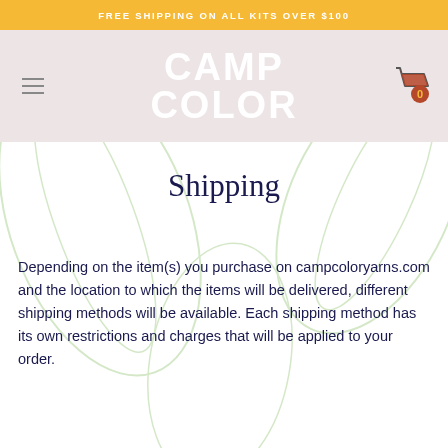FREE SHIPPING ON ALL KITS OVER $100
[Figure (logo): Camp Color logo in white bold uppercase text on pink/beige background, with hamburger menu icon on left and shopping cart icon with 0 badge on right]
Shipping
Depending on the item(s) you purchase on campcoloryarns.com and the location to which the items will be delivered, different shipping methods will be available. Each shipping method has its own restrictions and charges that will be applied to your order.